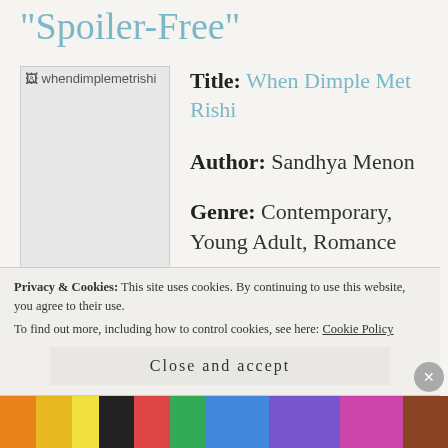"Spoiler-Free"
[Figure (photo): Book cover image placeholder showing broken image icon with alt text 'whendimplemetrishi']
Title: When Dimple Met Rishi
Author: Sandhya Menon
Genre: Contemporary, Young Adult, Romance
Format: Hardcover
Privacy & Cookies: This site uses cookies. By continuing to use this website, you agree to their use. To find out more, including how to control cookies, see here: Cookie Policy
Close and accept
[Figure (illustration): Colorful patterned strip at the bottom of the page with various colors]